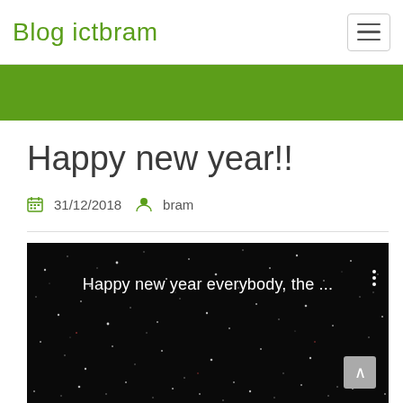Blog ictbram
Happy new year!!
31/12/2018  bram
[Figure (screenshot): Dark background video thumbnail showing text 'Happy new year everybody, the ...' with white dots/stars scattered across a black background, three vertical dots menu icon on right, and scroll-up button at bottom right.]